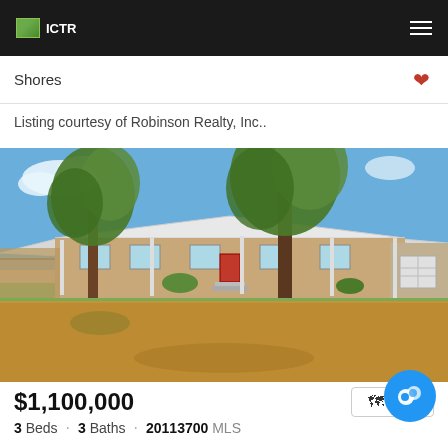ICTR
Shores
Listing courtesy of Robinson Realty, Inc..
[Figure (photo): Exterior photo of a single-story ranch-style home with white metal roof, covered porch, and large oak trees in the front yard. Red dirt driveway and landscaping visible.]
$1,100,000
Map
3 Beds · 3 Baths · 20113700 MLS